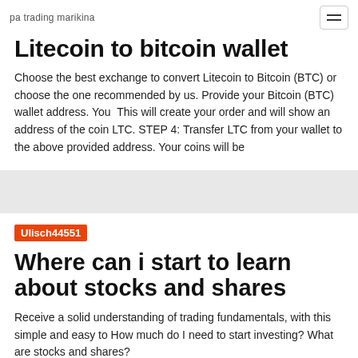pa trading marikina
Litecoin to bitcoin wallet
Choose the best exchange to convert Litecoin to Bitcoin (BTC) or choose the one recommended by us. Provide your Bitcoin (BTC) wallet address. You  This will create your order and will show an address of the coin LTC. STEP 4: Transfer LTC from your wallet to the above provided address. Your coins will be
Ulisch44551
Where can i start to learn about stocks and shares
Receive a solid understanding of trading fundamentals, with this simple and easy to How much do I need to start investing? What are stocks and shares?